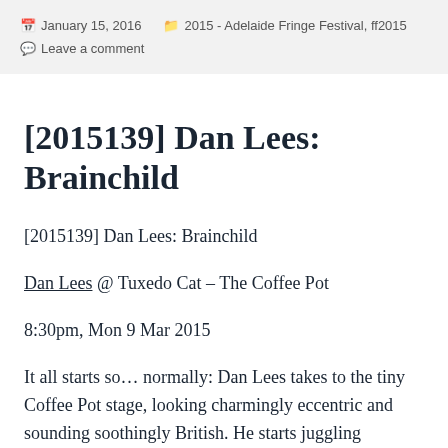January 15, 2016   2015 - Adelaide Fringe Festival, ff2015   Leave a comment
[2015139] Dan Lees: Brainchild
[2015139] Dan Lees: Brainchild
Dan Lees @ Tuxedo Cat – The Coffee Pot
8:30pm, Mon 9 Mar 2015
It all starts so… normally: Dan Lees takes to the tiny Coffee Pot stage, looking charmingly eccentric and sounding soothingly British. He starts juggling